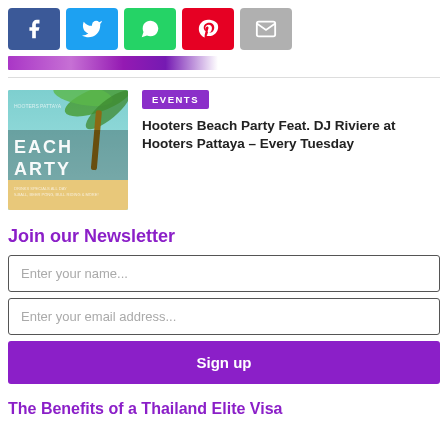[Figure (infographic): Social share buttons: Facebook (blue), Twitter (cyan), WhatsApp (green), Pinterest (red), Email (gray)]
[Figure (photo): Hooters Beach Party promotional image with palm trees and text BEACH PARTY]
EVENTS
Hooters Beach Party Feat. DJ Riviere at Hooters Pattaya – Every Tuesday
Join our Newsletter
Enter your name...
Enter your email address...
Sign up
The Benefits of a Thailand Elite Visa